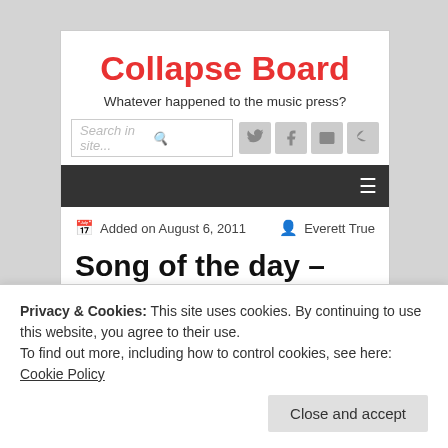Collapse Board
Whatever happened to the music press?
Search in site...
Added on August 6, 2011    Everett True
Song of the day –
Privacy & Cookies: This site uses cookies. By continuing to use this website, you agree to their use.
To find out more, including how to control cookies, see here: Cookie Policy
Close and accept